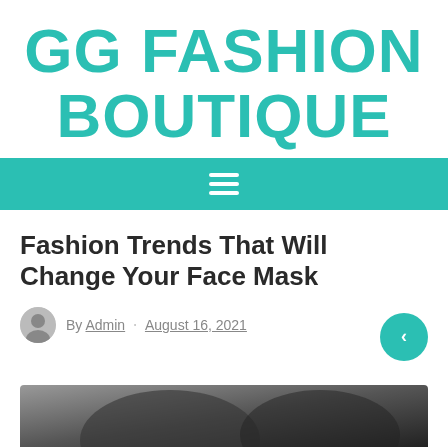GG FASHION BOUTIQUE
[Figure (other): Teal navigation bar with hamburger menu icon (three horizontal white lines)]
Fashion Trends That Will Change Your Face Mask
By Admin  August 16, 2021
[Figure (photo): Black and white photo strip at bottom of page, partially visible]